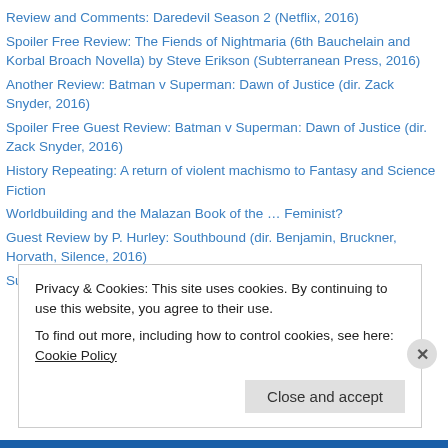Review and Comments: Daredevil Season 2 (Netflix, 2016)
Spoiler Free Review: The Fiends of Nightmaria (6th Bauchelain and Korbal Broach Novella) by Steve Erikson (Subterranean Press, 2016)
Another Review: Batman v Superman: Dawn of Justice (dir. Zack Snyder, 2016)
Spoiler Free Guest Review: Batman v Superman: Dawn of Justice (dir. Zack Snyder, 2016)
History Repeating: A return of violent machismo to Fantasy and Science Fiction
Worldbuilding and the Malazan Book of the … Feminist?
Guest Review by P. Hurley: Southbound (dir. Benjamin, Bruckner, Horvath, Silence, 2016)
Superhero Fatigue or Second Wind?
Privacy & Cookies: This site uses cookies. By continuing to use this website, you agree to their use.
To find out more, including how to control cookies, see here: Cookie Policy
Close and accept